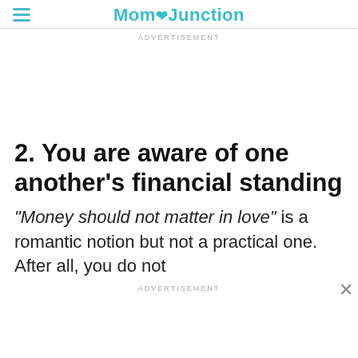MomJunction
ADVERTISEMENT
2. You are aware of one another’s financial standing
“Money should not matter in love” is a romantic notion but not a practical one. After all, you do not
ADVERTISEMENT